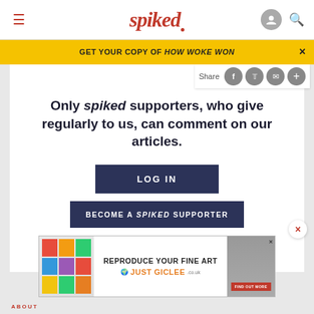spiked
GET YOUR COPY OF HOW WOKE WON
Only spiked supporters, who give regularly to us, can comment on our articles.
LOG IN
BECOME A SPIKED SUPPORTER
[Figure (screenshot): Advertisement banner for JUST GICLEE fine art reproduction service, showing colorful sticky notes on left, text 'REPRODUCE YOUR FINE ART JUST GICLEE.co.uk' in center, and a person image on right with red FIND OUT MORE button]
ABOUT